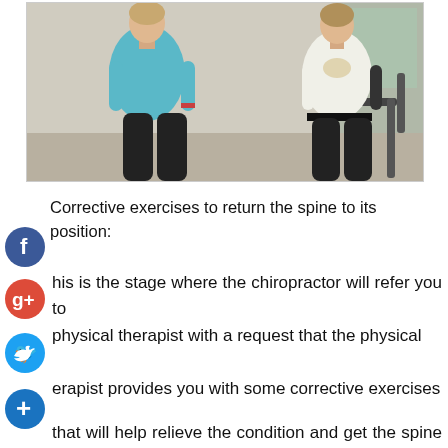[Figure (photo): Two people seated, one in a blue top and black pants (left), another in a white top and black pants seated on a chair (right), in what appears to be a clinical or office setting.]
Corrective exercises to return the spine to its position:
This is the stage where the chiropractor will refer you to physical therapist with a request that the physical therapist provides you with some corrective exercises that will help relieve the condition and get the spine back into position and correct the grain that causes scoliosis.